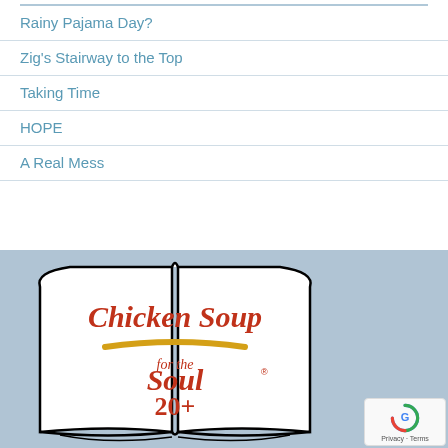Rainy Pajama Day?
Zig's Stairway to the Top
Taking Time
HOPE
A Real Mess
[Figure (logo): Chicken Soup for the Soul 20+ Contributor badge — open book shape with red script text 'Chicken Soup for the Soul' and bold red '20+ Contributor' text, with a gold swoosh accent]